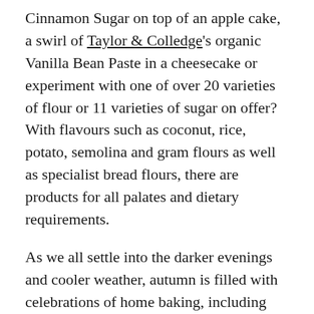Cinnamon Sugar on top of an apple cake, a swirl of Taylor & Colledge's organic Vanilla Bean Paste in a cheesecake or experiment with one of over 20 varieties of flour or 11 varieties of sugar on offer?  With flavours such as coconut, rice, potato, semolina and gram flours as well as specialist bread flours, there are products for all palates and dietary requirements.
As we all settle into the darker evenings and cooler weather, autumn is filled with celebrations of home baking, including National Cake Week (3rd – 9th October), National Baking Week (17th – 23rd October) and even the humble cupcake has been elevated to a heroic status with its very own National Cupcake Week, this year celebrated